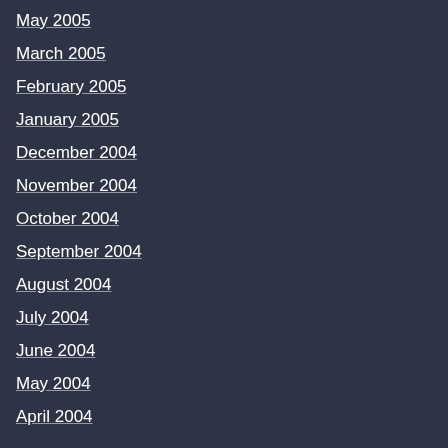May 2005
March 2005
February 2005
January 2005
December 2004
November 2004
October 2004
September 2004
August 2004
July 2004
June 2004
May 2004
April 2004